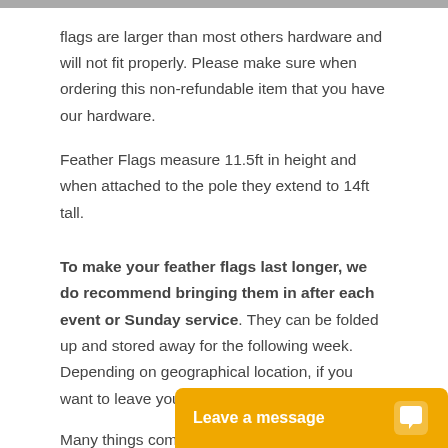flags are larger than most others hardware and will not fit properly. Please make sure when ordering this non-refundable item that you have our hardware.
Feather Flags measure 11.5ft in height and when attached to the pole they extend to 14ft tall.
To make your feather flags last longer, we do recommend bringing them in after each event or Sunday service. They can be folded up and stored away for the following week. Depending on geographical location, if you want to leave your feathers out every d… Many things come in…